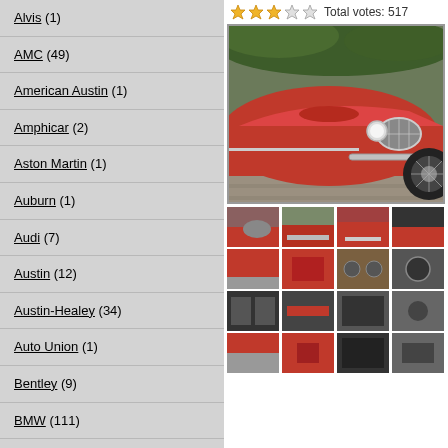Alvis (1)
AMC (49)
American Austin (1)
Amphicar (2)
Aston Martin (1)
Auburn (1)
Audi (7)
Austin (12)
Austin-Healey (34)
Auto Union (1)
Bentley (9)
BMW (111)
Bricklin (2)
Bugatti (1)
Buick (199)
Cadillac (267)
Total votes: 517
[Figure (photo): Red classic Austin-Healey sports car, front three-quarter view, parked on cobblestones with hedges in background]
[Figure (photo): Thumbnail grid of 12 detail photos of the same red Austin-Healey classic car]